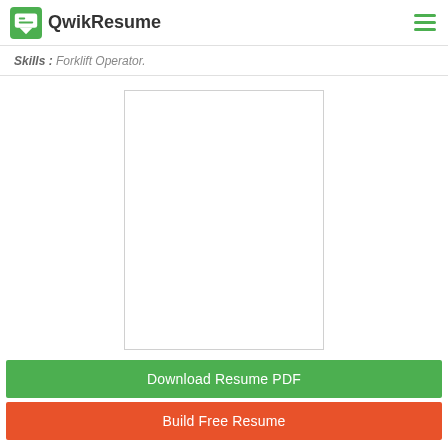QwikResume
Skills : Forklift Operator.
[Figure (other): Blank white resume preview document placeholder with light gray border]
Download Resume PDF
Build Free Resume